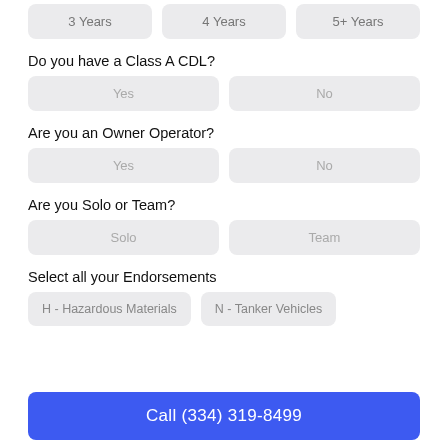3 Years
4 Years
5+ Years
Do you have a Class A CDL?
Yes
No
Are you an Owner Operator?
Yes
No
Are you Solo or Team?
Solo
Team
Select all your Endorsements
H - Hazardous Materials
N - Tanker Vehicles
Call (334) 319-8499